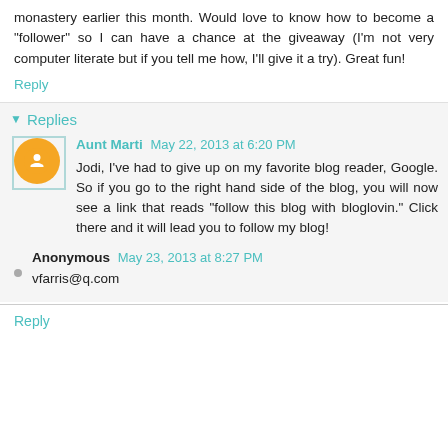monastery earlier this month. Would love to know how to become a "follower" so I can have a chance at the giveaway (I'm not very computer literate but if you tell me how, I'll give it a try). Great fun!
Reply
Replies
Aunt Marti  May 22, 2013 at 6:20 PM
Jodi, I've had to give up on my favorite blog reader, Google. So if you go to the right hand side of the blog, you will now see a link that reads "follow this blog with bloglovin." Click there and it will lead you to follow my blog!
Anonymous  May 23, 2013 at 8:27 PM
vfarris@q.com
Reply